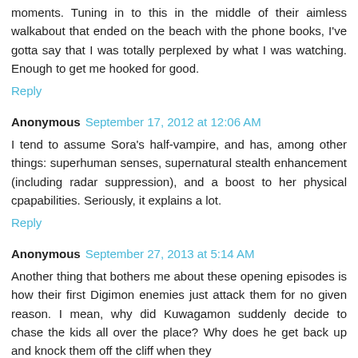moments. Tuning in to this in the middle of their aimless walkabout that ended on the beach with the phone books, I've gotta say that I was totally perplexed by what I was watching. Enough to get me hooked for good.
Reply
Anonymous September 17, 2012 at 12:06 AM
I tend to assume Sora's half-vampire, and has, among other things: superhuman senses, supernatural stealth enhancement (including radar suppression), and a boost to her physical cpapabilities. Seriously, it explains a lot.
Reply
Anonymous September 27, 2013 at 5:14 AM
Another thing that bothers me about these opening episodes is how their first Digimon enemies just attack them for no given reason. I mean, why did Kuwagamon suddenly decide to chase the kids all over the place? Why does he get back up and knock them off the cliff when they